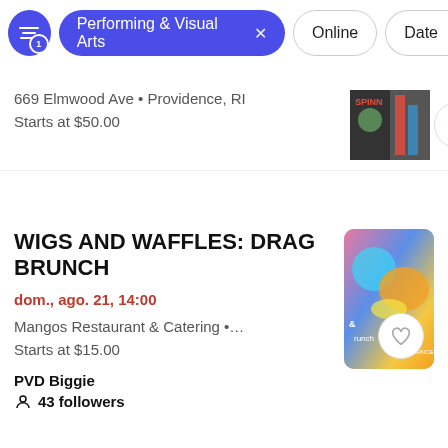Performing & Visual Arts  x    Online    Date
669 Elmwood Ave • Providence, RI
Starts at $50.00
WIGS AND WAFFLES: DRAG BRUNCH
dom., ago. 21, 14:00
Mangos Restaurant & Catering •…
Starts at $15.00
PVD Biggie
43 followers